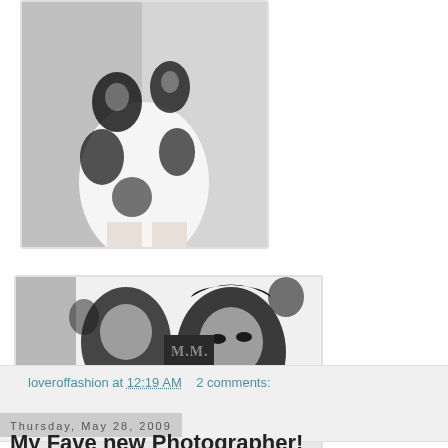[Figure (photo): Black and white Marilyn Monroe printed garment, partial view showing torso/hip area]
[Figure (photo): Close-up of black and white Marilyn Monroe printed fabric/garment with M.M. text logo visible]
loveroffashion at 12:19 AM   2 comments:
Thursday, May 28, 2009
My Fave new Photographer!